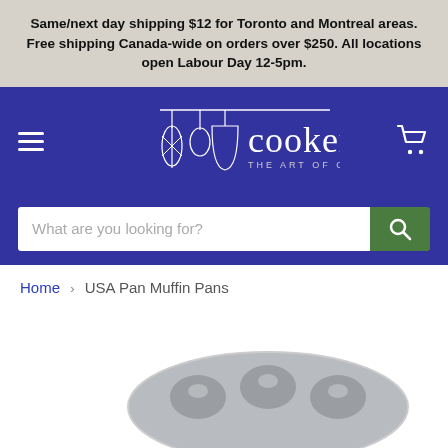Same/next day shipping $12 for Toronto and Montreal areas. Free shipping Canada-wide on orders over $250. All locations open Labour Day 12-5pm.
[Figure (logo): Cookery – The Art of Cooking logo with kitchen utensils on blue background, hamburger menu icon on left, shopping cart icon on right]
What are you looking for?
Home › USA Pan Muffin Pans
[Figure (photo): Partial view of a metallic USA Pan muffin pan at bottom of page]
English   Français